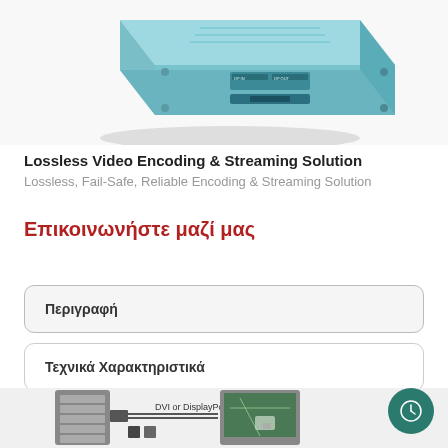[Figure (photo): Hardware device (blue/teal colored video encoder/streamer box) shown at an angle, partially cropped at top of page. Connectors visible on front panel labeled DP IN and DP OUT.]
Lossless Video Encoding & Streaming Solution
Lossless, Fail-Safe, Reliable Encoding & Streaming Solution
Επικοινωνήστε μαζί μας
Περιγραφή
Τεχνικά Χαρακτηριστικά
[Figure (schematic): Diagram showing DVI or DisplayPort connection from a computer tower to a display monitor with a map/navigation interface on screen. Text label 'DVI or DisplayPort' with connector icons shown at bottom of page (partially cropped).]